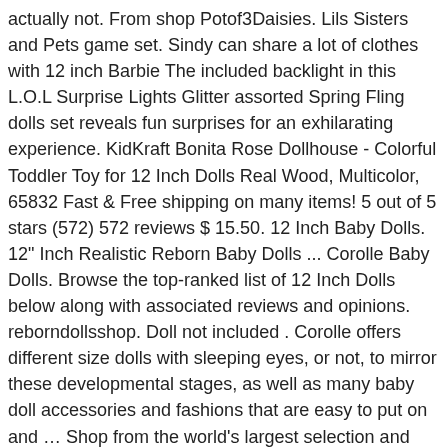actually not. From shop Potof3Daisies. Lils Sisters and Pets game set. Sindy can share a lot of clothes with 12 inch Barbie The included backlight in this L.O.L Surprise Lights Glitter assorted Spring Fling dolls set reveals fun surprises for an exhilarating experience. KidKraft Bonita Rose Dollhouse - Colorful Toddler Toy for 12 Inch Dolls Real Wood, Multicolor, 65832 Fast & Free shipping on many items! 5 out of 5 stars (572) 572 reviews $ 15.50. 12 Inch Baby Dolls. 12" Inch Realistic Reborn Baby Dolls ... Corolle Baby Dolls. Browse the top-ranked list of 12 Inch Dolls below along with associated reviews and opinions. reborndollsshop. Doll not included . Corolle offers different size dolls with sleeping eyes, or not, to mirror these developmental stages, as well as many baby doll accessories and fashions that are easy to put on and ... Shop from the world's largest selection and best deals for dolls clothes 12 inch. ... 12 inch Frederica Truly Reborn Baby Girl. Favorite Add to Knit Fit n Flair Cardi Pattern for 11-12 inch Fashion Dolls … $81.98. From shop Potof3Daisies. The working wheels of this Barbie convertible car put kids in the